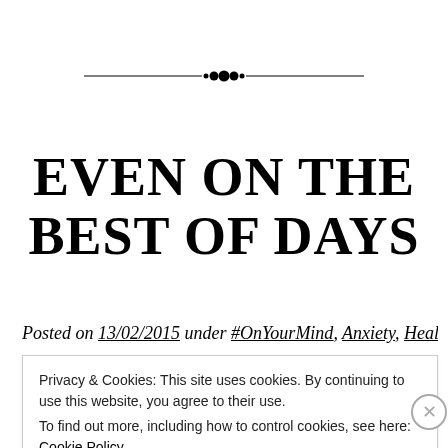[Figure (illustration): Decorative horizontal divider with ornamental flourish in the center, consisting of two horizontal lines meeting a small clustered dot motif in the middle.]
EVEN ON THE BEST OF DAYS
Posted on 13/02/2015 under #OnYourMind, Anxiety, Health,
Privacy & Cookies: This site uses cookies. By continuing to use this website, you agree to their use.
To find out more, including how to control cookies, see here: Cookie Policy
Close and accept